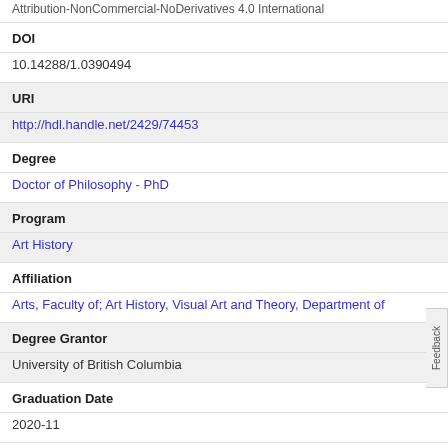Attribution-NonCommercial-NoDerivatives 4.0 International
DOI
10.14288/1.0390494
URI
http://hdl.handle.net/2429/74453
Degree
Doctor of Philosophy - PhD
Program
Art History
Affiliation
Arts, Faculty of; Art History, Visual Art and Theory, Department of
Degree Grantor
University of British Columbia
Graduation Date
2020-11